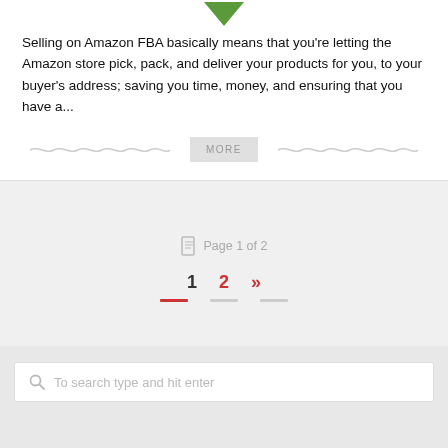[Figure (illustration): Green downward-pointing arrow/chevron icon at top of card]
Selling on Amazon FBA basically means that you're letting the Amazon store pick, pack, and deliver your products for you, to your buyer's address; saving you time, money, and ensuring that you have a...
[Figure (other): MORE button with wavy decorative lines on either side]
Page 1 of 2
1  2  »
[Figure (other): Search box with placeholder text 'To search type and hit enter']